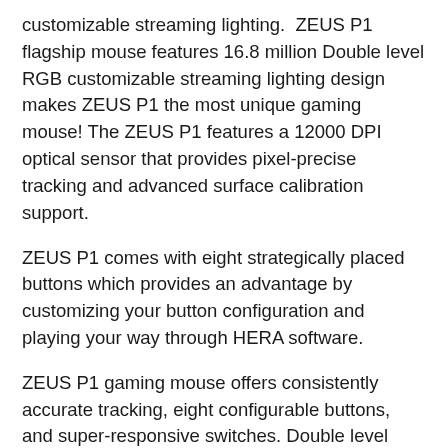customizable streaming lighting.  ZEUS P1 flagship mouse features 16.8 million Double level RGB customizable streaming lighting design makes ZEUS P1 the most unique gaming mouse! The ZEUS P1 features a 12000 DPI optical sensor that provides pixel-precise tracking and advanced surface calibration support.
ZEUS P1 comes with eight strategically placed buttons which provides an advantage by customizing your button configuration and playing your way through HERA software.
ZEUS P1 gaming mouse offers consistently accurate tracking, eight configurable buttons, and super-responsive switches. Double level RGB customizable streaming lighting creates a beautiful, personalized look that matchers your style.
Building on the phenomenal success of the GAMDIAS HERMES line previously, the new HERMES range adds a host of new features and improvements. With enhanced 16.8 million colors RGB Backlights, 4 back brightness, customize of design, expandable by new advanced side...